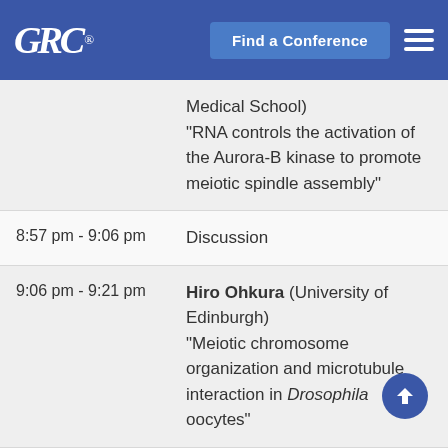GRC® | Find a Conference
Medical School) "RNA controls the activation of the Aurora-B kinase to promote meiotic spindle assembly"
8:57 pm - 9:06 pm | Discussion
9:06 pm - 9:21 pm | Hiro Ohkura (University of Edinburgh) "Meiotic chromosome organization and microtubule interaction in Drosophila oocytes"